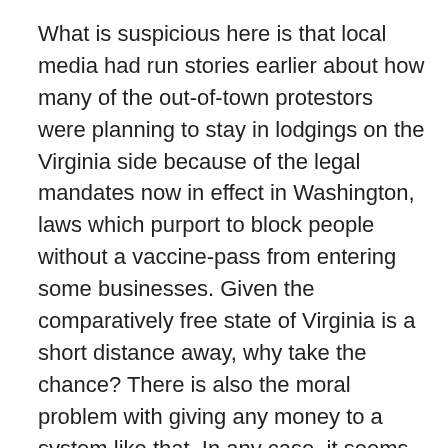What is suspicious here is that local media had run stories earlier about how many of the out-of-town protestors were planning to stay in lodgings on the Virginia side because of the legal mandates now in effect in Washington, laws which purport to block people without a vaccine-pass from entering some businesses. Given the comparatively free state of Virginia is a short distance away, why take the chance? There is also the moral problem with giving any money to a system like that. In any case, it seems possible, even likely, that this Metro line shutdown was intended to disrupt the protest.
Arriving early at the vast Washington Monument grounds, said to be the morning center-of-action, I have still seen no sign of any substantial police presence.
It's encouraging to see the early arrivals. They more